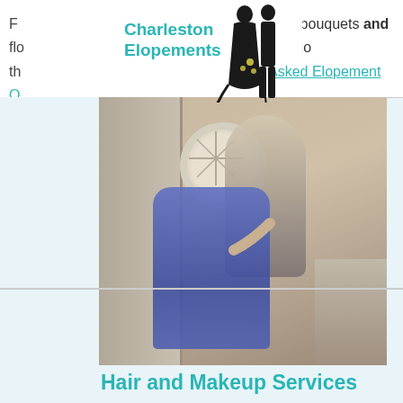F... n on bouquets and flo... can go th... Asked Elopement Q...
[Figure (logo): Charleston Elopements logo with silhouette of bride and groom couple]
[Figure (photo): Makeup artist applying makeup to a seated bride wearing a blue robe, indoors near an oval window]
Hair and Makeup Services
Hair and makeup services is provided exclusively by Karen and her team!  She has over 20 years experience and is fully trained and licensed in her art.  Although her